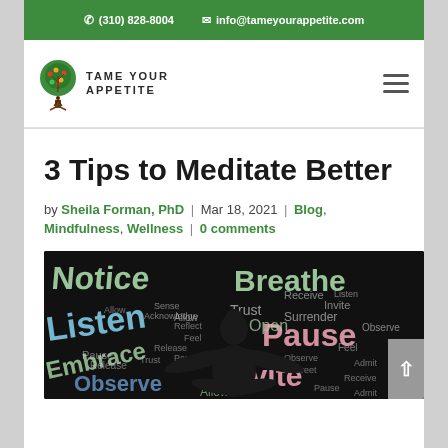(310) 828-8004 | info@tameyourappetite.com
[Figure (logo): Tame Your Appetite logo with tree icon and text 'TAME YOUR APPETITE']
3 Tips to Meditate Better
by Sheila Forman, PhD | Mar 18, 2021 | Blog, Mindfulness, Wellness | 0 comments
[Figure (photo): Word cloud with mindfulness-related words (Notice, Breathe, Listen, Trust, Pause, Invite, Embrace, Observe, Allow, Open, Surrender, Receive, etc.) on dark background with silhouette of a person sitting in meditation pose]